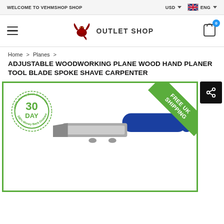WELCOME TO VEHMSHOP SHOP | USD | ENG
[Figure (logo): Dragon logo with text OUTLET SHOP]
Home > Planes >
ADJUSTABLE WOODWORKING PLANE WOOD HAND PLANER TOOL BLADE SPOKE SHAVE CARPENTER
[Figure (photo): Product photo of adjustable woodworking hand plane with blue handle on green-bordered background. Includes 30 DAY 100% Money Back Guarantee badge and FREE UK SHIPPING ribbon banner. Share button in top right corner.]